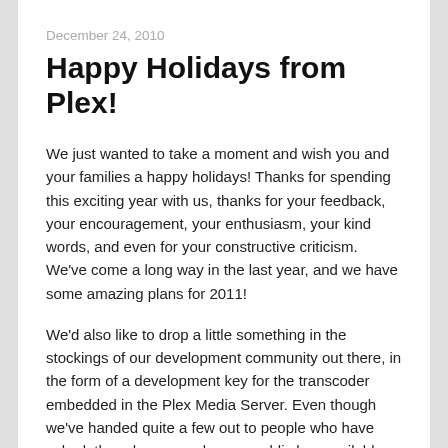December 24, 2010
Happy Holidays from Plex!
We just wanted to take a moment and wish you and your families a happy holidays! Thanks for spending this exciting year with us, thanks for your feedback, your encouragement, your enthusiasm, your kind words, and even for your constructive criticism. We've come a long way in the last year, and we have some amazing plans for 2011!
We'd also like to drop a little something in the stockings of our development community out there, in the form of a development key for the transcoder embedded in the Plex Media Server. Even though we've handed quite a few out to people who have asked, there has never been a public key available, which would be useful for building an HTML5 browser for the Plex Media Server, or any